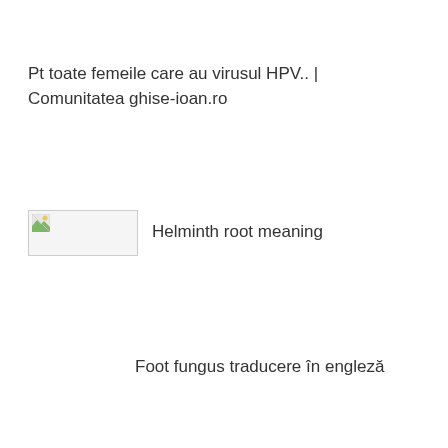Pt toate femeile care au virusul HPV.. | Comunitatea ghise-ioan.ro
[Figure (other): Broken image placeholder thumbnail]
Helminth root meaning
Foot fungus traducere în engleză